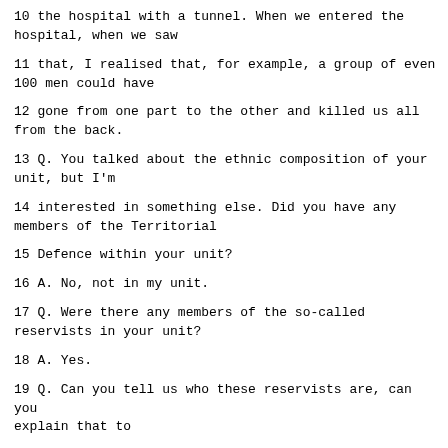10 the hospital with a tunnel. When we entered the hospital, when we saw
11 that, I realised that, for example, a group of even 100 men could have
12 gone from one part to the other and killed us all from the back.
13 Q. You talked about the ethnic composition of your unit, but I'm
14 interested in something else. Did you have any members of the Territorial
15 Defence within your unit?
16 A. No, not in my unit.
17 Q. Were there any members of the so-called reservists in your unit?
18 A. Yes.
19 Q. Can you tell us who these reservists are, can you explain that to
20 us? We know, perhaps, this system of defence, but maybe the Trial Chamber
21 would like to hear some explanations as to what we